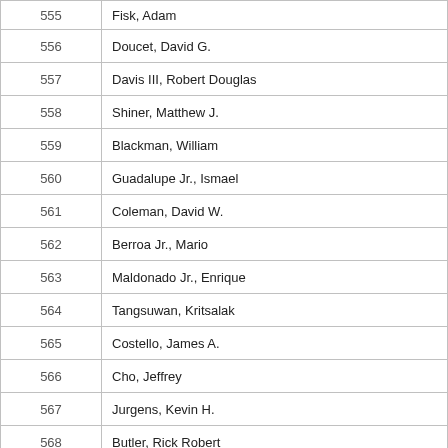| # | Name |
| --- | --- |
| 555 | Fisk, Adam |
| 556 | Doucet, David G. |
| 557 | Davis III, Robert Douglas |
| 558 | Shiner, Matthew J. |
| 559 | Blackman, William |
| 560 | Guadalupe Jr., Ismael |
| 561 | Coleman, David W. |
| 562 | Berroa Jr., Mario |
| 563 | Maldonado Jr., Enrique |
| 564 | Tangsuwan, Kritsalak |
| 565 | Costello, James A. |
| 566 | Cho, Jeffrey |
| 567 | Jurgens, Kevin H. |
| 568 | Butler, Rick Robert |
| 569 | Pironciak, Brad S. |
| 570 | Yahney, Noah H. |
| 571 | Moreira, Jeffrey N. |
| 572 | McGovern, Kyle Mark |
| 573 | Loureiro, Marcos A. |